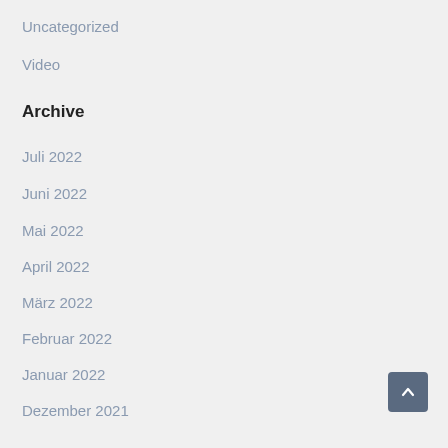Uncategorized
Video
Archive
Juli 2022
Juni 2022
Mai 2022
April 2022
März 2022
Februar 2022
Januar 2022
Dezember 2021
November 2021
Oktober 2021
September 2021